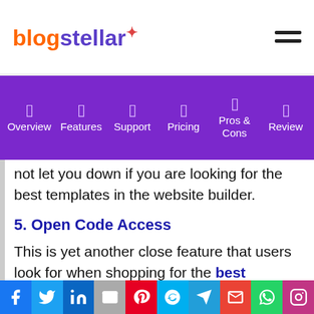blogstellar (logo) with hamburger menu
Overview | Features | Support | Pricing | Pros & Cons | Review (navigation bar)
not let you down if you are looking for the best templates in the website builder.
5. Open Code Access
This is yet another close feature that users look for when shopping for the best website builders in the market. Even though WordPress.org is a free platform, it comes fully packed with the open code access
Social share bar: Facebook, Twitter, LinkedIn, Email, Pinterest, Skype, Telegram, Gmail, WhatsApp, Instagram